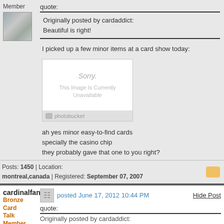Member
quote:
Originally posted by cardaddict:
Beautiful is right!
I picked up a few minor items at a card show today:
[Figure (photo): Photobucket image unavailable placeholder showing 'Sorry. This Image Is Currently Unavailable']
ah yes minor easy-to-find cards
specially the casino chip
they probably gave that one to you right?
Posts: 1450 | Location: montreal,canada | Registered: September 07, 2007
cardinalfan13
Bronze Card Talk Member
posted June 17, 2012 10:44 PM
Hide Post
quote:
Originally posted by cardaddict: